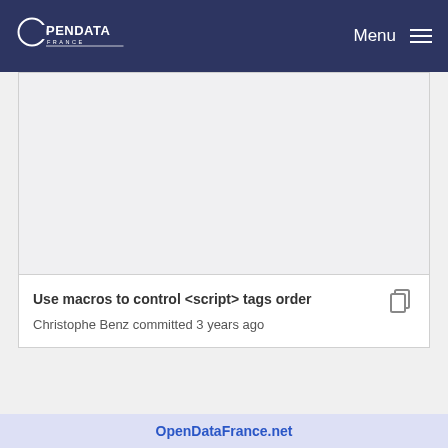OPENDATA FRANCE — Menu
[Figure (screenshot): Blank gray content area showing a web page with a white card panel]
Use macros to control <script> tags order
Christophe Benz committed 3 years ago
OpenDataFrance.net